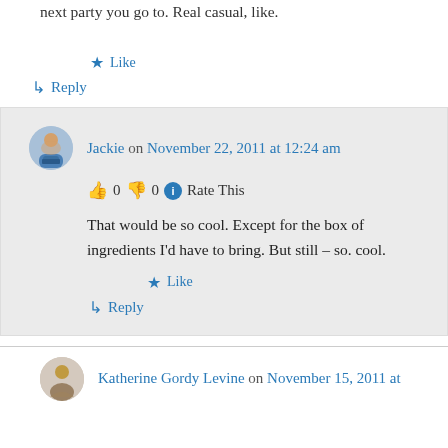next party you go to. Real casual, like.
★ Like
↳ Reply
Jackie on November 22, 2011 at 12:24 am
👍 0 👎 0 ℹ Rate This
That would be so cool. Except for the box of ingredients I'd have to bring. But still – so. cool.
★ Like
↳ Reply
Katherine Gordy Levine on November 15, 2011 at